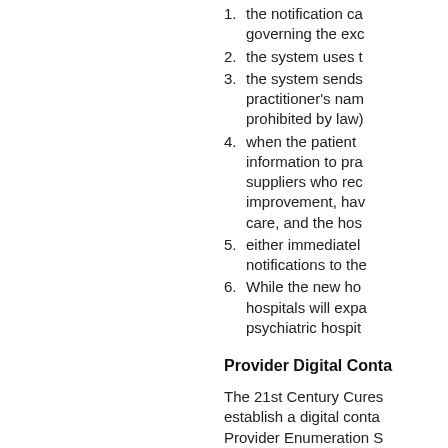the notification ca... governing the exc...
the system uses t...
the system sends... practitioner's nam... prohibited by law)...
when the patient... information to pra... suppliers who rec... improvement, hav... care, and the hos...
either immediatel... notifications to the...
While the new ho... hospitals will expa... psychiatric hospit...
Provider Digital Conta...
The 21st Century Cures... establish a digital conta... Provider Enumeration S... However, because CMS... ensuring that it is up-to-... ("NPIs") of providers wh...